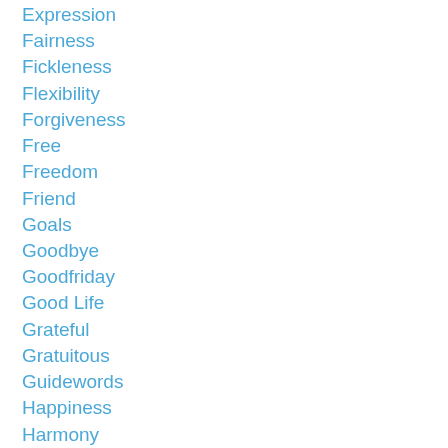Expression
Fairness
Fickleness
Flexibility
Forgiveness
Free
Freedom
Friend
Goals
Goodbye
Goodfriday
Good Life
Grateful
Gratuitous
Guidewords
Happiness
Harmony
Holidays
Holyweek
Honor